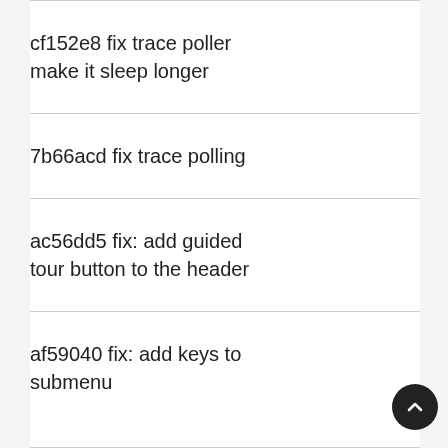cf152e8 fix trace poller make it sleep longer
7b66acd fix trace polling
ac56dd5 fix: add guided tour button to the header
af59040 fix: add keys to submenu